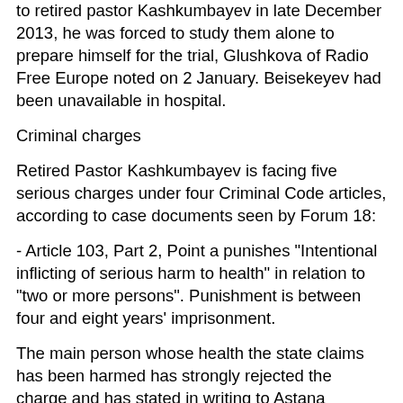to retired pastor Kashkumbayev in late December 2013, he was forced to study them alone to prepare himself for the trial, Glushkova of Radio Free Europe noted on 2 January. Beisekeyev had been unavailable in hospital.
Criminal charges
Retired Pastor Kashkumbayev is facing five serious charges under four Criminal Code articles, according to case documents seen by Forum 18:
- Article 103, Part 2, Point a punishes "Intentional inflicting of serious harm to health" in relation to "two or more persons". Punishment is between four and eight years' imprisonment.
The main person whose health the state claims has been harmed has strongly rejected the charge and has stated in writing to Astana Prosecutor's Office that Kashkumbayev is innocent (see below).
- Article 164, Part 2 punishes "Deliberate actions aimed at the incitement of social, national, clan, racial, or